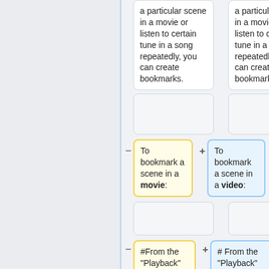a particular scene in a movie or listen to certain tune in a song repeatedly, you can create bookmarks.
a particular scene in a movie or listen to certain tune in a song repeatedly, you can create bookmarks.
To bookmark a scene in a movie:
To bookmark a scene in a video:
#From the "Playback" menu select the "Bookmarks" option, and the "Manage Bookmarks". The "Edit
# From the "Playback" menu select the "Bookmarks" option, and the "Manage Bookmarks". The "Edit